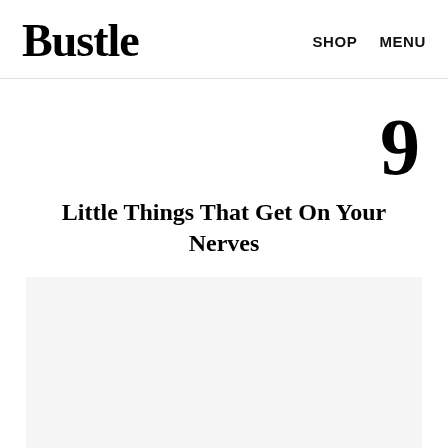Bustle   SHOP   MENU
9
Little Things That Get On Your Nerves
[Figure (photo): Light gray placeholder image area below the article title]